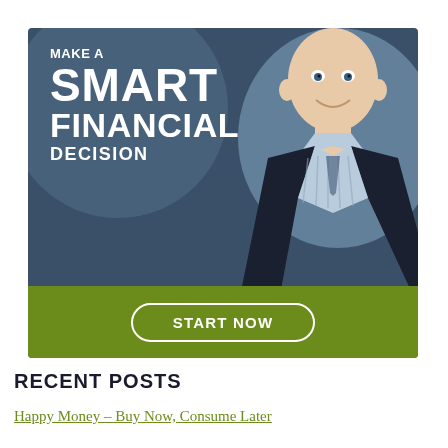[Figure (illustration): Financial advisory advertisement banner with dark blue background, a smiling bald man in a dark suit and light blue checked shirt, large white bold text reading 'MAKE A SMART FINANCIAL DECISION', and a green bar at the bottom with a 'START NOW' button outlined in white.]
RECENT POSTS
Happy Money – Buy Now, Consume Later